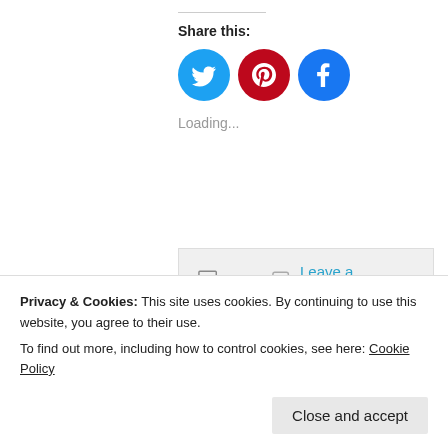Share this:
[Figure (infographic): Three social media share buttons: Twitter (blue circle with bird), Pinterest (red circle with P), Facebook (blue circle with f)]
Loading...
Filed   Leave a comment under Original Poem, Uncategorized
Privacy & Cookies: This site uses cookies. By continuing to use this website, you agree to their use. To find out more, including how to control cookies, see here: Cookie Policy
Close and accept